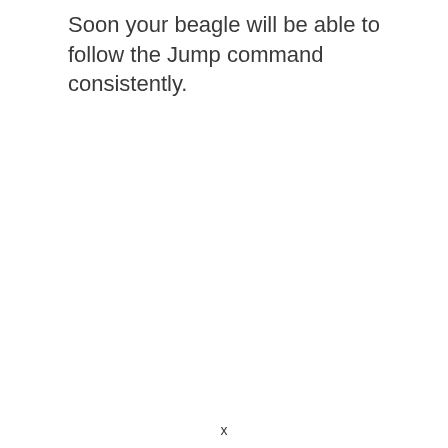Soon your beagle will be able to follow the Jump command consistently.
x